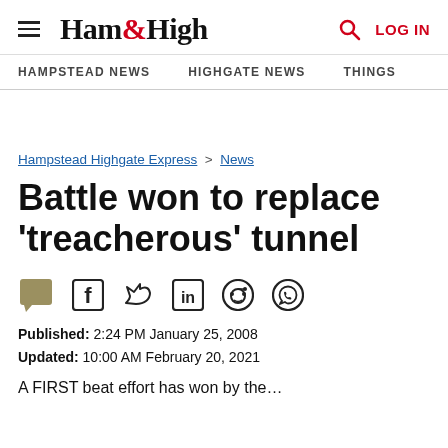Ham&High — HAMPSTEAD NEWS | HIGHGATE NEWS | THINGS | LOG IN
Hampstead Highgate Express > News
Battle won to replace 'treacherous' tunnel
[Figure (other): Social share icons: comment, Facebook, Twitter, LinkedIn, Reddit, WhatsApp]
Published: 2:24 PM January 25, 2008
Updated: 10:00 AM February 20, 2021
A FIRST beat effort has won by the...